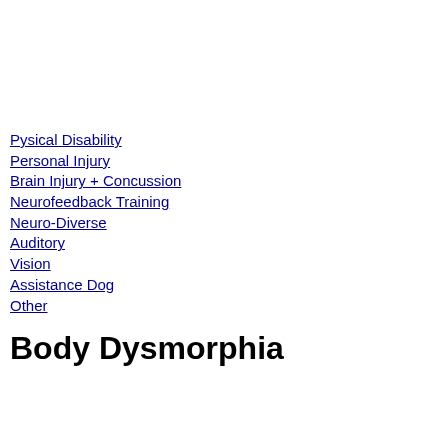Pysical Disability
Personal Injury
Brain Injury + Concussion
Neurofeedback Training
Neuro-Diverse
Auditory
Vision
Assistance Dog
Other
Body Dysmorphia